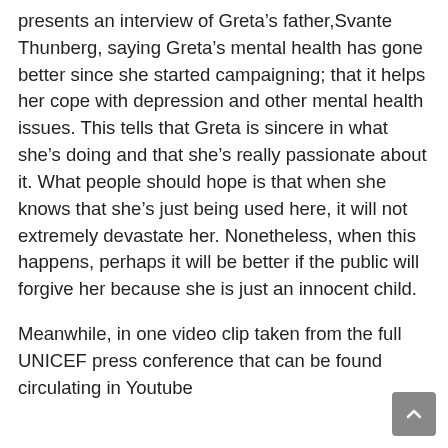presents an interview of Greta's father,Svante Thunberg, saying Greta's mental health has gone better since she started campaigning; that it helps her cope with depression and other mental health issues. This tells that Greta is sincere in what she's doing and that she's really passionate about it. What people should hope is that when she knows that she's just being used here, it will not extremely devastate her. Nonetheless, when this happens, perhaps it will be better if the public will forgive her because she is just an innocent child.
Meanwhile, in one video clip taken from the full UNICEF press conference that can be found circulating in Youtube